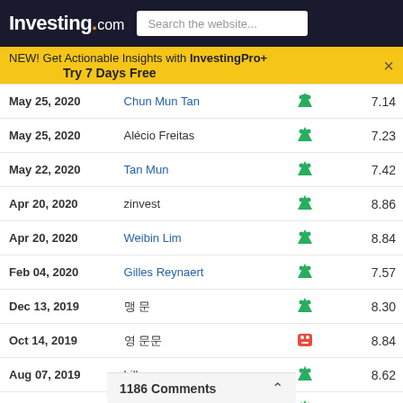Investing.com | Search the website...
NEW! Get Actionable Insights with InvestingPro+ Try 7 Days Free
| Date | Name | Signal | Value |
| --- | --- | --- | --- |
| May 25, 2020 | Chun Mun Tan | bull | 7.14 |
| May 25, 2020 | Alécio Freitas | bull | 7.23 |
| May 22, 2020 | Tan Mun | bull | 7.42 |
| Apr 20, 2020 | zinvest | bull | 8.86 |
| Apr 20, 2020 | Weibin Lim | bull | 8.84 |
| Feb 04, 2020 | Gilles Reynaert | bull | 7.57 |
| Dec 13, 2019 | 맹 문 | bull | 8.30 |
| Oct 14, 2019 | 영 문문 | bear | 8.84 |
| Aug 07, 2019 | billy sae | bull | 8.62 |
| Jun 06, 2019 | stan hoon | bull | 9.18 |
| Apr 30, 2019 | Chua Cheng Lian | bear | 9.29 |
| Apr 02, 2019 | Nicolas Kauder | bull | 9.90 |
| Oct 12, 2018 | Janice Koh | bull | 10.30 |
1186 Comments